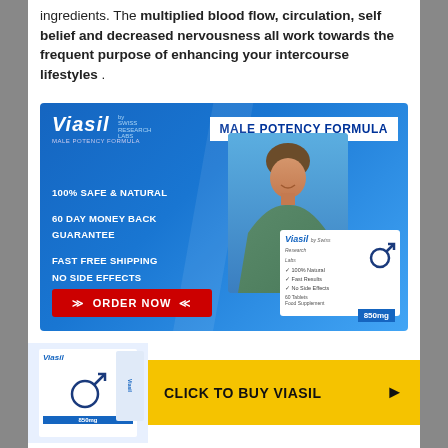ingredients. The multiplied blood flow, circulation, self belief and decreased nervousness all work towards the frequent purpose of enhancing your intercourse lifestyles .
[Figure (photo): Viasil male potency formula advertisement banner featuring a smiling man in plaid shirt, product box showing 850mg, text reading '100% Safe & Natural', '60 Day Money Back Guarantee', 'Fast Free Shipping', 'No Side Effects', and a red ORDER NOW button]
[Figure (photo): Bottom call-to-action bar showing Viasil product box on left and yellow 'CLICK TO BUY VIASIL' button with arrow on right]